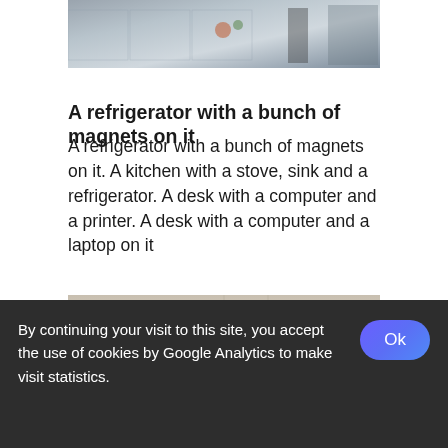[Figure (photo): Partial view of a room/kitchen/office scene, cropped at top of page]
A refrigerator with a bunch of magnets on it
A refrigerator with a bunch of magnets on it. A kitchen with a stove, sink and a refrigerator. A desk with a computer and a printer. A desk with a computer and a laptop on it
[Figure (photo): Ceiling view of a room with overhead lights, warm beige tones]
By continuing your visit to this site, you accept the use of cookies by Google Analytics to make visit statistics.